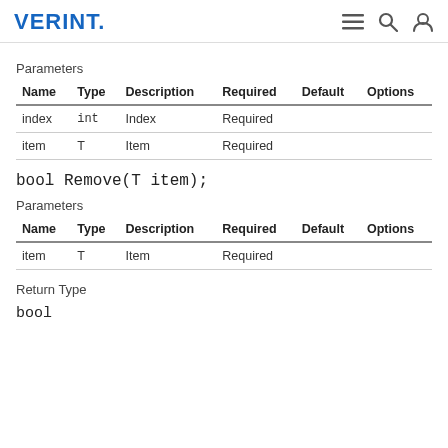VERINT.
Parameters
| Name | Type | Description | Required | Default | Options |
| --- | --- | --- | --- | --- | --- |
| index | int | Index | Required |  |  |
| item | T | Item | Required |  |  |
bool Remove(T item);
Parameters
| Name | Type | Description | Required | Default | Options |
| --- | --- | --- | --- | --- | --- |
| item | T | Item | Required |  |  |
Return Type
bool